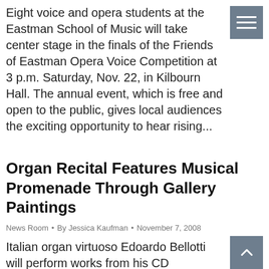Eight voice and opera students at the Eastman School of Music will take center stage in the finals of the Friends of Eastman Opera Voice Competition at 3 p.m. Saturday, Nov. 22, in Kilbourn Hall. The annual event, which is free and open to the public, gives local audiences the exciting opportunity to hear rising...
Organ Recital Features Musical Promenade Through Gallery Paintings
News Room  •  By Jessica Kaufman  •  November 7, 2008
Italian organ virtuoso Edoardo Bellotti will perform works from his CD Promenade, a collection of works inspired by paintings at